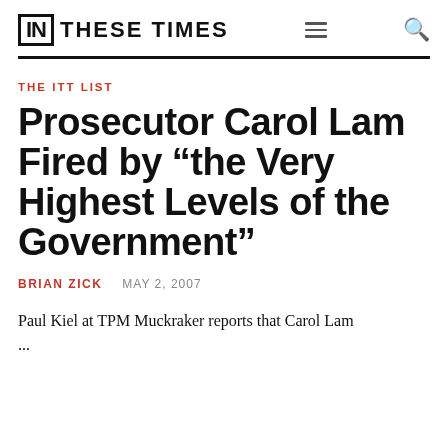IN THESE TIMES
THE ITT LIST
Prosecutor Carol Lam Fired by “the Very Highest Levels of the Government”
BRIAN ZICK   MAY 2, 2007
Paul Kiel at TPM Muckraker reports that Carol Lam...